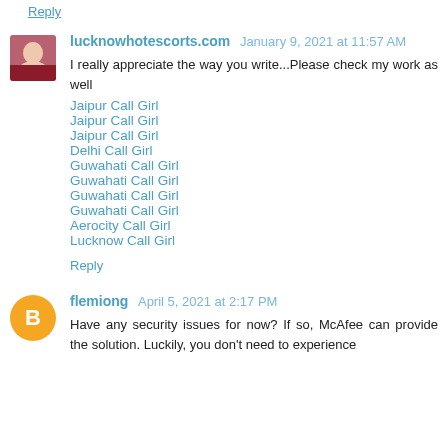Reply
lucknowhotescorts.com January 9, 2021 at 11:57 AM
I really appreciate the way you write...Please check my work as well
Jaipur Call Girl
Jaipur Call Girl
Jaipur Call Girl
Delhi Call Girl
Guwahati Call Girl
Guwahati Call Girl
Guwahati Call Girl
Guwahati Call Girl
Aerocity Call Girl
Lucknow Call Girl
Reply
flemiong April 5, 2021 at 2:17 PM
Have any security issues for now? If so, McAfee can provide the solution. Luckily, you don't need to experience